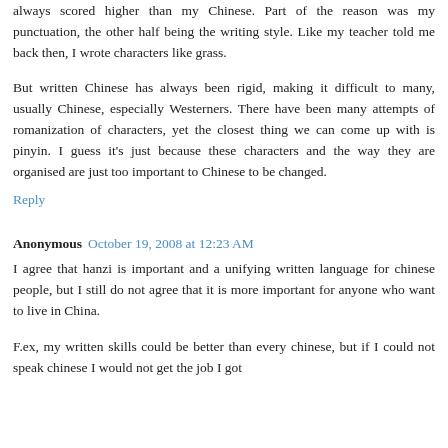always scored higher than my Chinese. Part of the reason was my punctuation, the other half being the writing style. Like my teacher told me back then, I wrote characters like grass.
But written Chinese has always been rigid, making it difficult to many, usually Chinese, especially Westerners. There have been many attempts of romanization of characters, yet the closest thing we can come up with is pinyin. I guess it's just because these characters and the way they are organised are just too important to Chinese to be changed.
Reply
Anonymous  October 19, 2008 at 12:23 AM
I agree that hanzi is important and a unifying written language for chinese people, but I still do not agree that it is more important for anyone who want to live in China.
F.ex, my written skills could be better than every chinese, but if I could not speak chinese I would not get the job I got